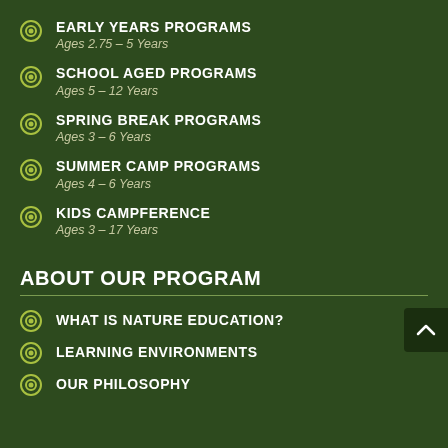EARLY YEARS PROGRAMS
Ages 2.75 – 5 Years
SCHOOL AGED PROGRAMS
Ages 5 – 12 Years
SPRING BREAK PROGRAMS
Ages 3 – 6 Years
SUMMER CAMP PROGRAMS
Ages 4 – 6 Years
KIDS CAMPFERENCE
Ages 3 – 17 Years
ABOUT OUR PROGRAM
WHAT IS NATURE EDUCATION?
LEARNING ENVIRONMENTS
OUR PHILOSOPHY